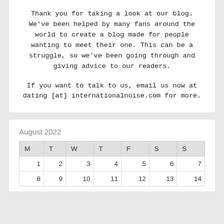Thank you for taking a look at our blog. We've been helped by many fans around the world to create a blog made for people wanting to meet their one. This can be a struggle, so we've been going through and giving advice to our readers.
If you want to talk to us, email us now at dating [at] internationalnoise.com for more.
August 2022
| M | T | W | T | F | S | S |
| --- | --- | --- | --- | --- | --- | --- |
| 1 | 2 | 3 | 4 | 5 | 6 | 7 |
| 8 | 9 | 10 | 11 | 12 | 13 | 14 |